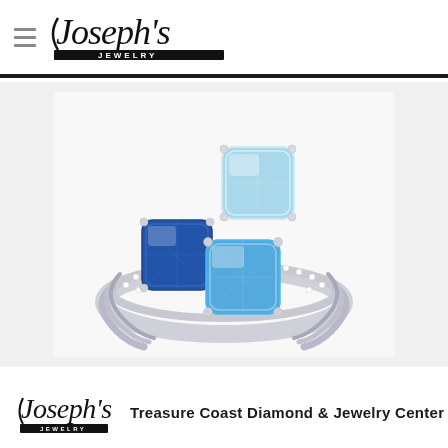Joseph's Jewelry
[Figure (photo): A silver ring featuring three cushion-cut blue topaz gemstones in varying shades of blue, set with small diamond accents along the split shank band.]
Joseph's Jewelry — Treasure Coast Diamond & Jewelry Center